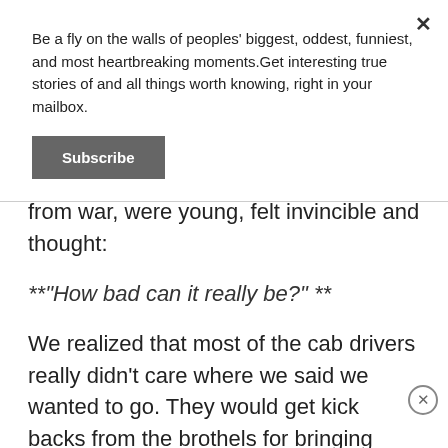Be a fly on the walls of peoples' biggest, oddest, funniest, and most heartbreaking moments.Get interesting true stories of and all things worth knowing, right in your mailbox.
Subscribe
from war, were young, felt invincible and thought:
**"How bad can it really be?" **
We realized that most of the cab drivers really didn't care where we said we wanted to go. They would get kick backs from the brothels for bringing people there. No matter what we said, somehow we were always dropped off at a strip club or brothel.